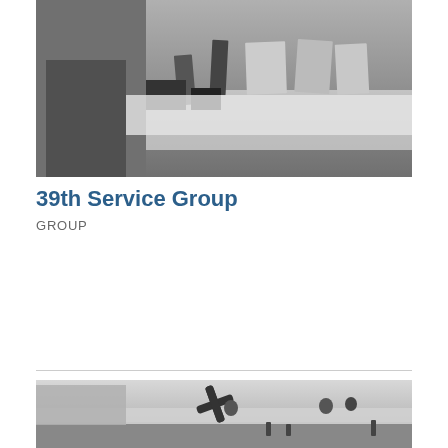[Figure (photo): Black and white photograph showing a person in military uniform standing near a table with books or documents on display stands]
39th Service Group
GROUP
[Figure (photo): Black and white photograph of military personnel working on an aircraft, with men sitting on the wings near the propeller on an airfield]